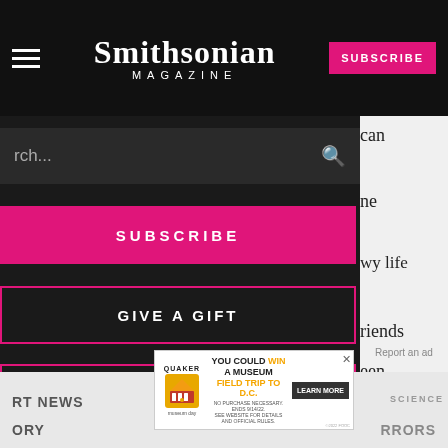Smithsonian MAGAZINE
SUBSCRIBE
can
ne
wy life
riends
een
away
SUBSCRIBE
GIVE A GIFT
RENEW
Report an ad
RT NEWS
ory
SCIENCE
rrors
[Figure (screenshot): Smithsonian Magazine website screenshot showing navigation menu overlay with Subscribe, Give a Gift, and Renew buttons, plus an advertisement for Quaker Museum Day field trip to D.C.]